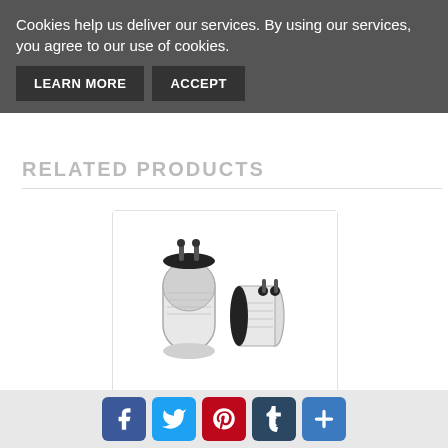Cookies help us deliver our services. By using our services, you agree to our use of cookies.
LEARN MORE  ACCEPT
RELATED PRODUCTS
[Figure (photo): Two cylindrical capacitors - Benliu brand run capacitors, one upright and one on its side, showing terminals on top]
Benliu 6 uf MFD 370 or 440 Volt Fan Moto...
Social share buttons: Facebook, Twitter, Pinterest, Tumblr, More